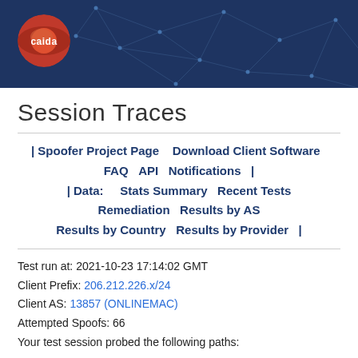[Figure (logo): CAIDA logo on dark blue network graph banner header]
Session Traces
| Spoofer Project Page   Download Client Software   FAQ   API   Notifications   | | Data:    Stats Summary   Recent Tests   Remediation   Results by AS   Results by Country   Results by Provider   |
Test run at: 2021-10-23 17:14:02 GMT
Client Prefix: 206.212.226.x/24
Client AS: 13857 (ONLINEMAC)
Attempted Spoofs: 66
Your test session probed the following paths: